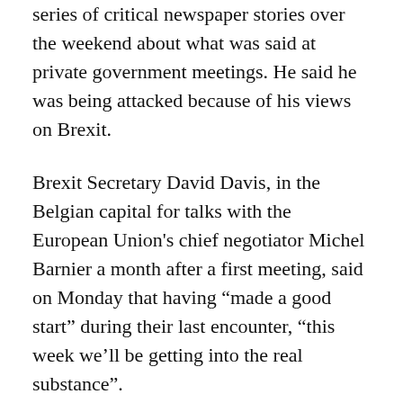series of critical newspaper stories over the weekend about what was said at private government meetings. He said he was being attacked because of his views on Brexit.
Brexit Secretary David Davis, in the Belgian capital for talks with the European Union's chief negotiator Michel Barnier a month after a first meeting, said on Monday that having “made a good start” during their last encounter, “this week we’ll be getting into the real substance”.
With less than two years to settle divorce terms before Britain leaves, deal or no deal, on March 30, 2019, the 27 other EU national leaders want British Prime Minister Theresa May to rally her divided nation swiftly